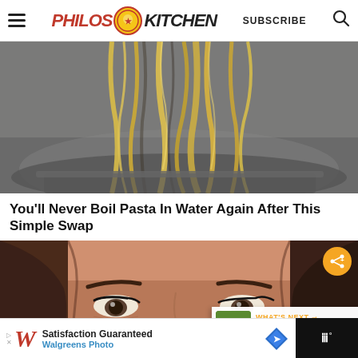Philos Kitchen — SUBSCRIBE
[Figure (photo): Close-up of fresh pasta noodles being lifted from a pot, golden yellow strands against a blurred metallic bowl background]
You'll Never Boil Pasta In Water Again After This Simple Swap
[Figure (photo): Close-up of a woman's eyes and forehead with brown hair, with a share button overlay and a 'What's Next: Dolmades Recipe...' thumbnail overlay]
WHAT'S NEXT → DOLMADES RECIPE:...
Satisfaction Guaranteed Walgreens Photo